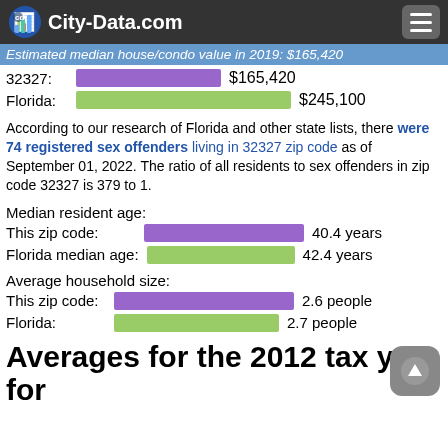City-Data.com
Estimated median house/condo value in 2019: $165,420
[Figure (bar-chart): Estimated median house/condo value in 2019]
According to our research of Florida and other state lists, there were 74 registered sex offenders living in 32327 zip code as of September 01, 2022. The ratio of all residents to sex offenders in zip code 32327 is 379 to 1.
Median resident age:
[Figure (bar-chart): Median resident age]
Average household size:
[Figure (bar-chart): Average household size]
Averages for the 2012 tax year for